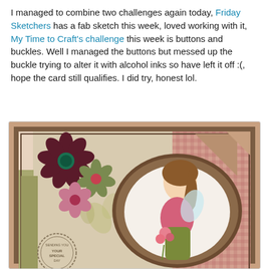I managed to combine two challenges again today, Friday Sketchers has a fab sketch this week, loved working with it, My Time to Craft's challenge this week is buttons and buckles. Well I managed the buttons but messed up the buckle trying to alter it with alcohol inks so have left it off :(, hope the card still qualifies. I did try, honest lol.
[Figure (photo): Handmade greeting card featuring a fairy girl illustration in an oval scalloped frame, decorated with dark red, green, and pink paper flowers with button centers, pink gingham patterned background, brown layered frame, and a circular postage-style stamp in the lower left reading 'Sending you your special day'.]